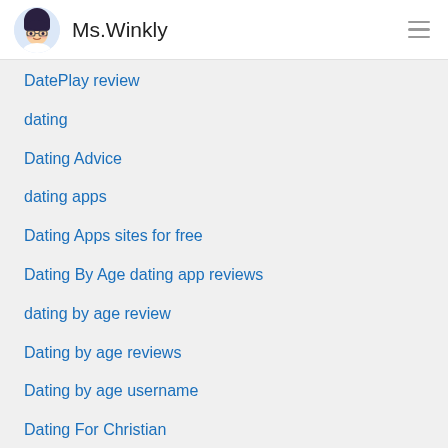Ms.Winkly
DatePlay review
dating
Dating Advice
dating apps
Dating Apps sites for free
Dating By Age dating app reviews
dating by age review
Dating by age reviews
Dating by age username
Dating For Christian
Dating For Farmers
Dating for jewish
Dating for Rich People